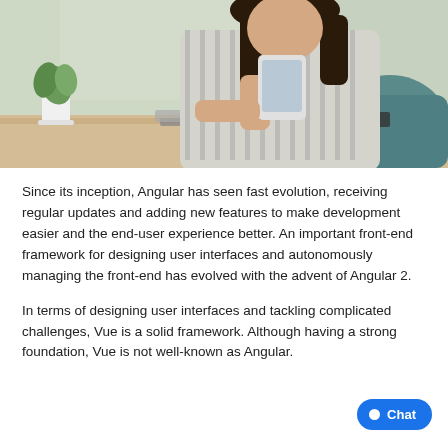[Figure (photo): A woman with long dark hair wearing a striped shirt sits at a desk, holding a tablet. On the desk are a laptop, notebooks, and a plant in a white pot. The background shows a window with natural light.]
Since its inception, Angular has seen fast evolution, receiving regular updates and adding new features to make development easier and the end-user experience better. An important front-end framework for designing user interfaces and autonomously managing the front-end has evolved with the advent of Angular 2.
In terms of designing user interfaces and tackling complicated challenges, Vue is a solid framework. Although having a strong foundation, Vue is not well-known as Angular.